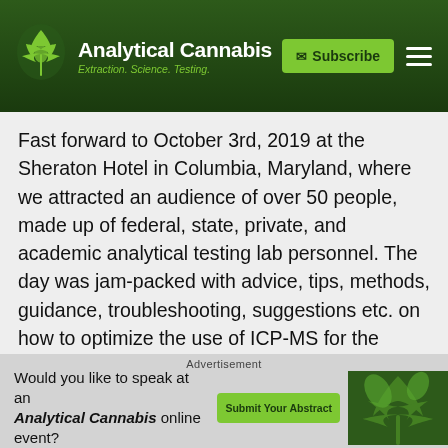Analytical Cannabis — Extraction. Science. Testing.
Fast forward to October 3rd, 2019 at the Sheraton Hotel in Columbia, Maryland, where we attracted an audience of over 50 people, made up of federal, state, private, and academic analytical testing lab personnel. The day was jam-packed with advice, tips, methods, guidance, troubleshooting, suggestions etc. on how to optimize the use of ICP-MS for the accurate and validated measurement of heavy metals in cannabis and cannabis-related products.
After Lori Dodson from MMCC had welcomed everyone, I kicked off the scientific part of the meeting, by talking about the early days of ICP-MS when I worked on the very first commercially-available instrument, the ELAN 250 in 1983 a... the plasm... hass
Advertisement
Would you like to speak at an Analytical Cannabis online event?
Submit Your Abstract